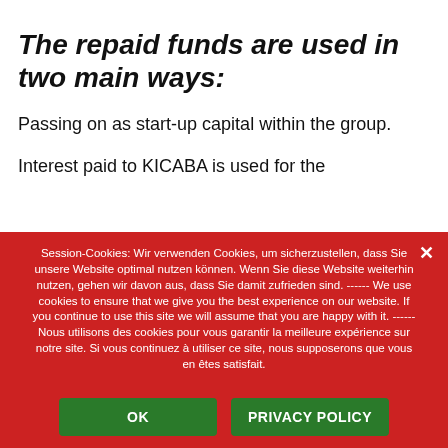The repaid funds are used in two main ways:
Passing on as start-up capital within the group.
Interest paid to KICABA is used for the
Session-Cookies: Wir verwenden Cookies, um sicherzustellen, dass Sie unsere Website optimal nutzen können. Wenn Sie diese Website weiterhin nutzen, gehen wir davon aus, dass Sie damit zufrieden sind. ------ We use cookies to ensure that we give you the best experience on our website. If you continue to use this site we will assume that you are happy with it. ------ Nous utilisons des cookies pour vous garantir la meilleure expérience sur notre site. Si vous continuez à utiliser ce site, nous supposerons que vous en êtes satisfait.